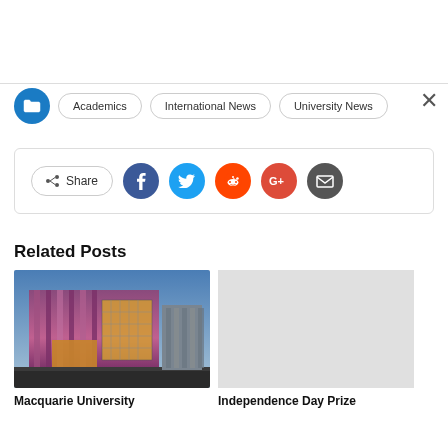[Figure (screenshot): White top area, partial webpage header]
×
Academics | International News | University News
[Figure (infographic): Share bar with Share button and social icons: Facebook, Twitter, Reddit, Google+, Email]
Related Posts
[Figure (photo): Photo of Macquarie University building exterior at dusk with colorful facade]
Macquarie University
[Figure (photo): Gray placeholder image for Independence Day Prize post with next arrow button]
Independence Day Prize